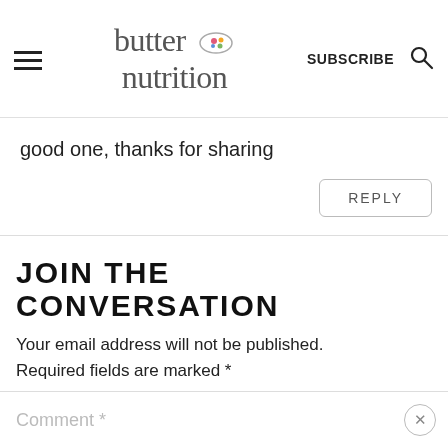butter nutrition | SUBSCRIBE
good one, thanks for sharing
REPLY
JOIN THE CONVERSATION
Your email address will not be published. Required fields are marked *
Comment *